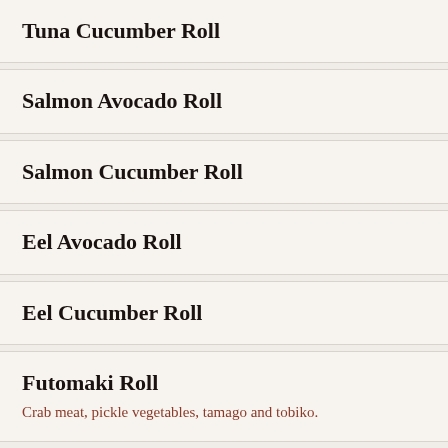Tuna Cucumber Roll
Salmon Avocado Roll
Salmon Cucumber Roll
Eel Avocado Roll
Eel Cucumber Roll
Futomaki Roll
Boston Roll